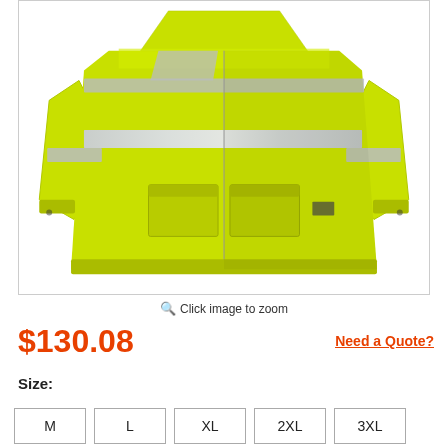[Figure (photo): High-visibility safety jacket in bright yellow/lime color with silver reflective tape strips across the chest and sleeves. The jacket has multiple pockets and appears to be a rain jacket or work jacket.]
Click image to zoom
$130.08
Need a Quote?
Size:
M
L
XL
2XL
3XL